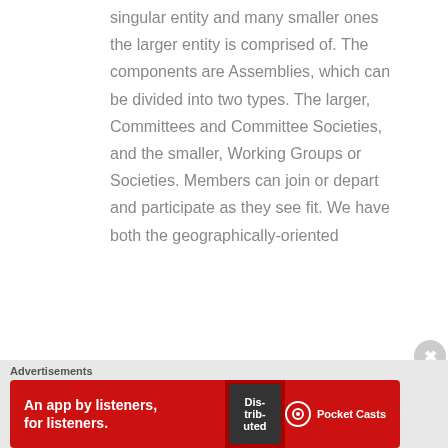singular entity and many smaller ones the larger entity is comprised of. The components are Assemblies, which can be divided into two types. The larger, Committees and Committee Societies, and the smaller, Working Groups or Societies. Members can join or depart and participate as they see fit. We have both the geographically-oriented
[Figure (other): Pocket Casts advertisement banner: 'An app by listeners, for listeners.' with app logo on red background]